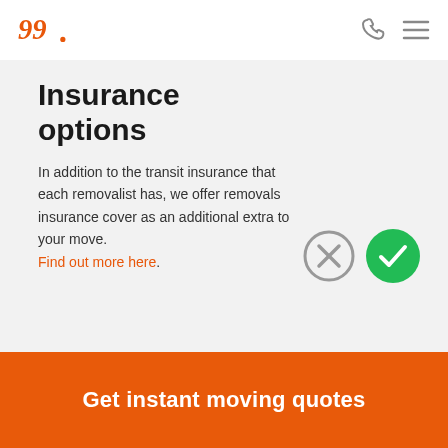Logo | phone icon | menu icon
Insurance options
In addition to the transit insurance that each removalist has, we offer removals insurance cover as an additional extra to your move. Find out more here.
[Figure (illustration): Gray circle with X mark (no insurance) and green circle with checkmark (insurance included)]
Get instant moving quotes